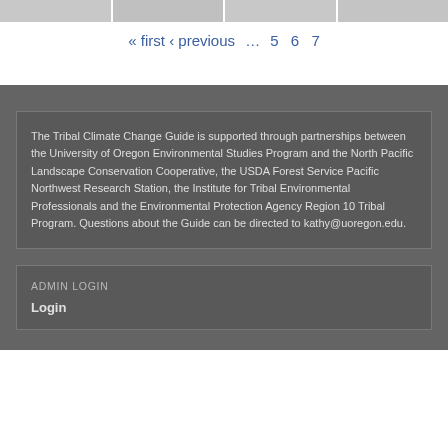« first ‹ previous … 5 6 7
The Tribal Climate Change Guide is supported through partnerships between the University of Oregon Environmental Studies Program and the North Pacific Landscape Conservation Cooperative, the USDA Forest Service Pacific Northwest Research Station, the Institute for Tribal Environmental Professionals and the Environmental Protection Agency Region 10 Tribal Program. Questions about the Guide can be directed to kathy@uoregon.edu.
ADMIN LOGIN
Login